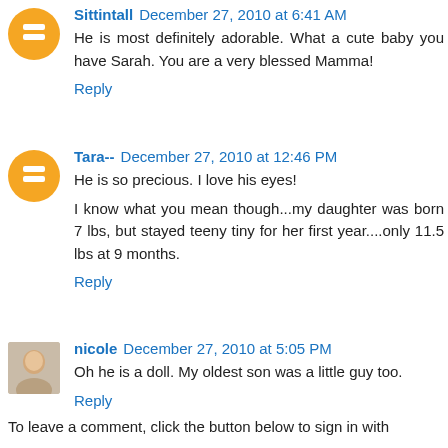Sittintall December 27, 2010 at 6:41 AM
He is most definitely adorable. What a cute baby you have Sarah. You are a very blessed Mamma!
Reply
Tara-- December 27, 2010 at 12:46 PM
He is so precious. I love his eyes!
I know what you mean though...my daughter was born 7 lbs, but stayed teeny tiny for her first year....only 11.5 lbs at 9 months.
Reply
nicole December 27, 2010 at 5:05 PM
Oh he is a doll. My oldest son was a little guy too.
Reply
To leave a comment, click the button below to sign in with